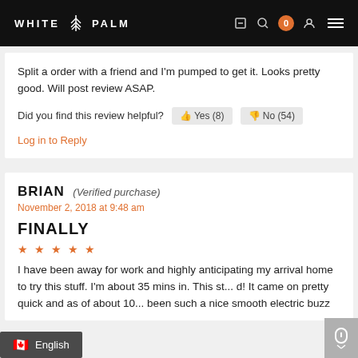WHITE PALM
Split a order with a friend and I'm pumped to get it. Looks pretty good. Will post review ASAP.
Did you find this review helpful? Yes (8) No (54)
Log in to Reply
BRIAN (Verified purchase) November 2, 2018 at 9:48 am
FINALLY
I have been away for work and highly anticipating my arrival home to try this stuff. I'm about 35 mins in. This st... d! It came on pretty quick and as of about 10... been such a nice smooth electric buzz